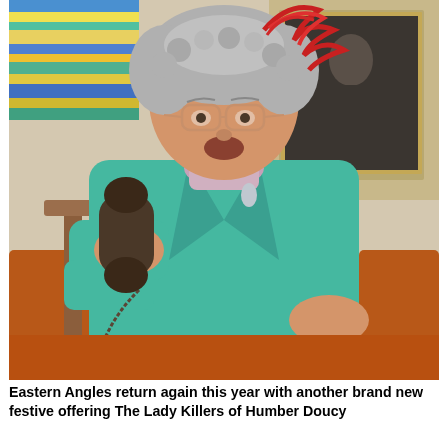[Figure (photo): A person in character costume wearing a teal/turquoise coat, curly grey wig, glasses, and red feather hat accessory, sitting in an orange armchair holding an old-fashioned brown telephone receiver to their ear with an alarmed expression. A colourful striped blanket and a framed portrait painting are visible in the background.]
Eastern Angles return again this year with another brand new festive offering The Lady Killers of Humber Doucy